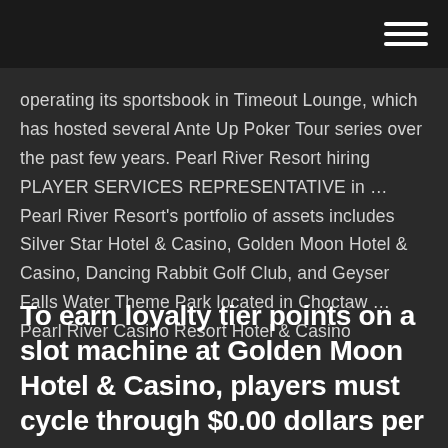[hamburger menu icon]
operating its sportsbook in Timeout Lounge, which has hosted several Ante Up Poker Tour series over the past few years. Pearl River Resort hiring PLAYER SERVICES REPRESENTATIVE in ... Pearl River Resort's portfolio of assets includes Silver Star Hotel & Casino, Golden Moon Hotel & Casino, Dancing Rabbit Golf Club, and Geyser Falls Water Theme Park located in Choctaw ... Pearl River Casino Resort Hotel & Casino
To earn loyalty tier points on a slot machine at Golden Moon Hotel & Casino, players must cycle through $0.00 dollars per